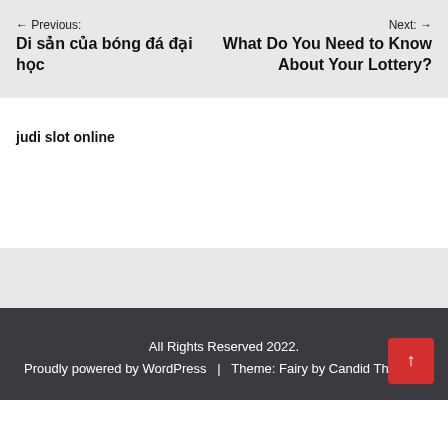← Previous: Di sản của bóng đá đại học
Next: → What Do You Need to Know About Your Lottery?
judi slot online
All Rights Reserved 2022. Proudly powered by WordPress | Theme: Fairy by Candid Themes.